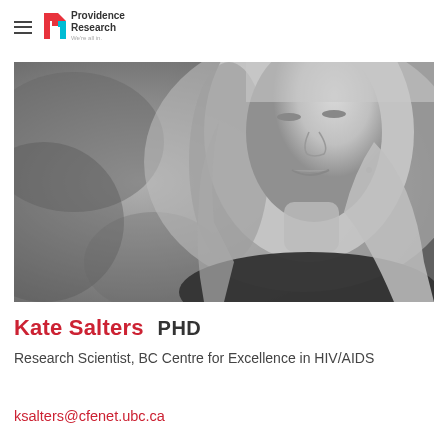Providence Research — We're all in.
[Figure (photo): Black and white portrait photo of Kate Salters, a woman with long blonde hair, smiling slightly, wearing a dark top, with a blurred outdoor background.]
Kate Salters  PHD
Research Scientist, BC Centre for Excellence in HIV/AIDS
ksalters@cfenet.ubc.ca